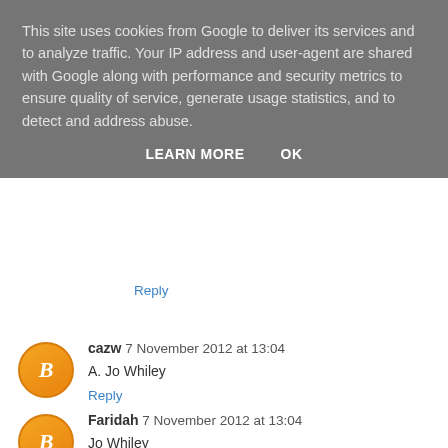This site uses cookies from Google to deliver its services and to analyze traffic. Your IP address and user-agent are shared with Google along with performance and security metrics to ensure quality of service, generate usage statistics, and to detect and address abuse.
LEARN MORE   OK
Reply
cazw 7 November 2012 at 13:04
A. Jo Whiley
Reply
Faridah 7 November 2012 at 13:04
Jo Whiley
Reply